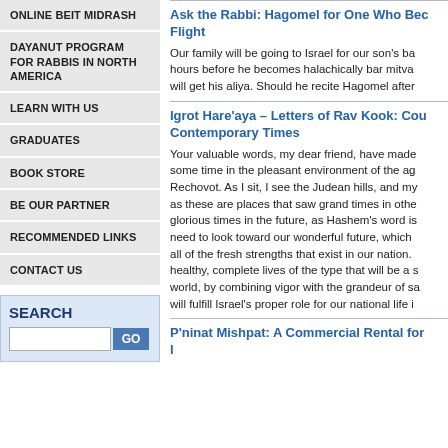ONLINE BEIT MIDRASH
DAYANUT PROGRAM FOR RABBIS IN NORTH AMERICA
LEARN WITH US
GRADUATES
BOOK STORE
BE OUR PARTNER
RECOMMENDED LINKS
CONTACT US
SEARCH
Ask the Rabbi: Hagomel for One Who Bec... Flight
Our family will be going to Israel for our son's ba... hours before he becomes halachically bar mitva... will get his aliya. Should he recite Hagomel after
Igrot Hare'aya – Letters of Rav Kook: Cou... Contemporary Times
Your valuable words, my dear friend, have made... some time in the pleasant environment of the ag... Rechovot. As I sit, I see the Judean hills, and my... as these are places that saw grand times in othe... glorious times in the future, as Hashem's word is... need to look toward our wonderful future, which ... all of the fresh strengths that exist in our nation. ... healthy, complete lives of the type that will be a s... world, by combining vigor with the grandeur of sa... will fulfill Israel's proper role for our national life i...
P'ninat Mishpat: A Commercial Rental for... l